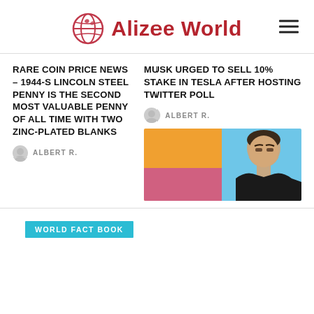Alizee World
RARE COIN PRICE NEWS – 1944-S LINCOLN STEEL PENNY IS THE SECOND MOST VALUABLE PENNY OF ALL TIME WITH TWO ZINC-PLATED BLANKS
ALBERT R.
MUSK URGED TO SELL 10% STAKE IN TESLA AFTER HOSTING TWITTER POLL
ALBERT R.
[Figure (photo): Photo of Elon Musk against orange/blue background]
WORLD FACT BOOK